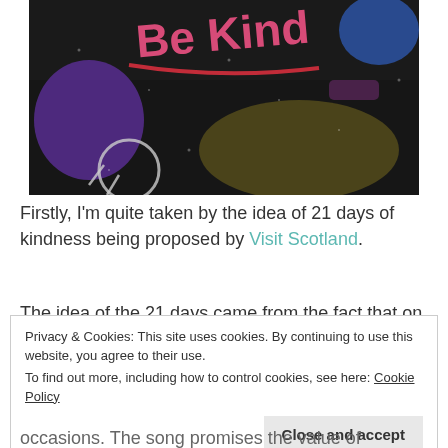[Figure (photo): Chalk art on dark ground with 'Be Kind' written in pink chalk letters with a red underline, and colorful chalk drawings including purple and blue shapes]
Firstly, I'm quite taken by the idea of 21 days of kindness being proposed by Visit Scotland.
The idea of the 21 days came from the fact that on
Privacy & Cookies: This site uses cookies. By continuing to use this website, you agree to their use.
To find out more, including how to control cookies, see here: Cookie Policy
Close and accept
occasions. The song promises the value of friendship